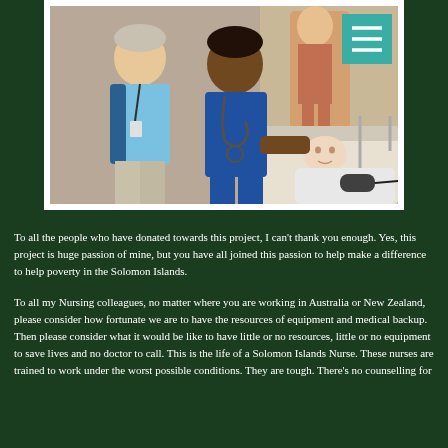[Figure (photo): A man in a light blue polo shirt and lanyard stands beside a female nurse in a dark blue uniform with a stethoscope. A medical mannequin lies on a hospital bed in the foreground with a blood pressure cuff attached. Medical anatomy posters visible in the background.]
To all the people who have donated towards this project, I can't thank you enough. Yes, this project is huge passion of mine, but you have all joined this passion to help make a difference to help poverty in the Solomon Islands.
To all my Nursing colleagues, no matter where you are working in Australia or New Zealand, please consider how fortunate we are to have the resources of equipment and medical backup. Then please consider what it would be like to have little or no resources, little or no equipment to save lives and no doctor to call. This is the life of a Solomon Islands Nurse. These nurses are trained to work under the worst possible conditions. They are tough. There's no counselling for